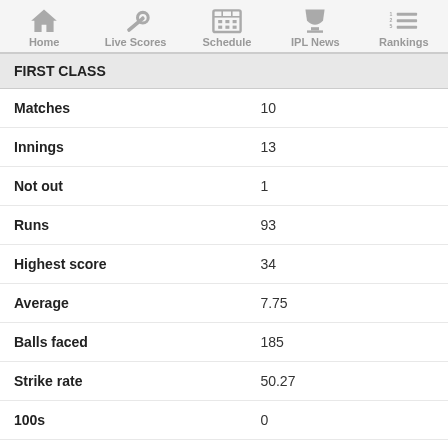Home | Live Scores | Schedule | IPL News | Rankings
FIRST CLASS
| Stat | Value |
| --- | --- |
| Matches | 10 |
| Innings | 13 |
| Not out | 1 |
| Runs | 93 |
| Highest score | 34 |
| Average | 7.75 |
| Balls faced | 185 |
| Strike rate | 50.27 |
| 100s | 0 |